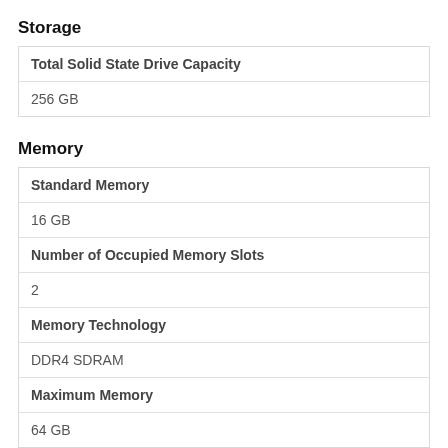Storage
| Total Solid State Drive Capacity |
| 256 GB |
Memory
| Standard Memory |
| 16 GB |
| Number of Occupied Memory Slots |
| 2 |
| Memory Technology |
| DDR4 SDRAM |
| Maximum Memory |
| 64 GB |